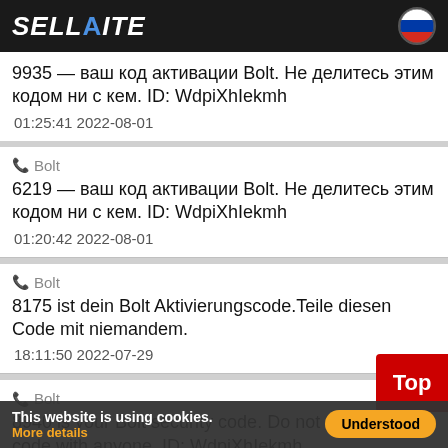SELLAITE
9935 — ваш код активации Bolt. Не делитесь этим кодом ни с кем. ID: WdpiXhIekmh
01:25:41 2022-08-01
Bolt
6219 — ваш код активации Bolt. Не делитесь этим кодом ни с кем. ID: WdpiXhIekmh
01:20:42 2022-08-01
Bolt
8175 ist dein Bolt Aktivierungscode.Teile diesen Code mit niemandem.
18:11:50 2022-07-29
Bolt
8940 is your Bolt security code. Do not share this code with anyone. ID: WdpiXhIekmh
This website is using cookies. More details
Understood